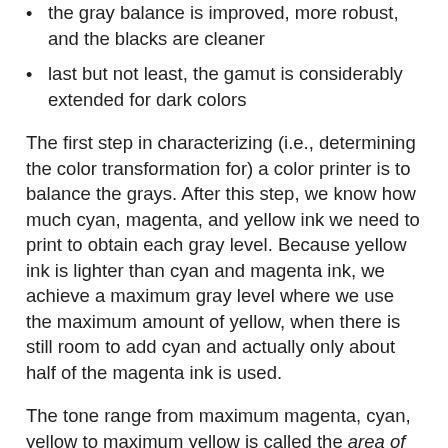the gray balance is improved, more robust, and the blacks are cleaner
last but not least, the gamut is considerably extended for dark colors
The first step in characterizing (i.e., determining the color transformation for) a color printer is to balance the grays. After this step, we know how much cyan, magenta, and yellow ink we need to print to obtain each gray level. Because yellow ink is lighter than cyan and magenta ink, we achieve a maximum gray level where we use the maximum amount of yellow, when there is still room to add cyan and actually only about half of the magenta ink is used.
The tone range from maximum magenta, cyan, yellow to maximum yellow is called the area of gray imbalance, because no gray can be produced. Adding a black separation, the tone range can be increased to include the area of gray imbalance.
Actually, because the black ink is much darker than even magenta, by going all the way to full black, the tone scale can be considerably extended in the range of dark colors